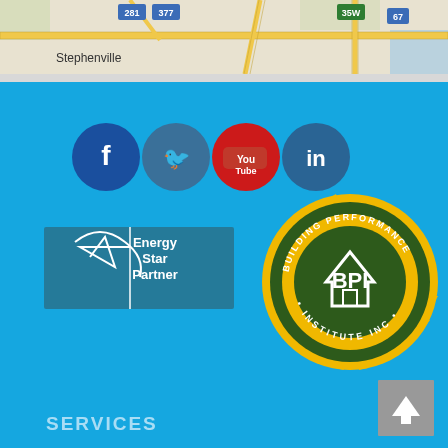[Figure (map): Map strip showing roads near Stephenville area with route markers 281, 377, 67, 35W]
[Figure (infographic): Blue footer section with social media icons (Facebook, Twitter, YouTube, LinkedIn), Energy Star Partner logo, BPI Building Performance Institute Inc badge, Services footer text, and back-to-top button]